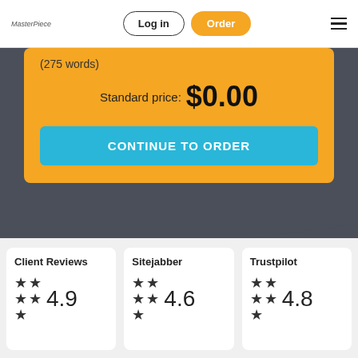Log in | Order
(275 words)
Standard price: $0.00
CONTINUE TO ORDER
Client Reviews
★★★★★ 4.9
Sitejabber
★★★★★ 4.6
Trustpilot
★★★★★ 4.8